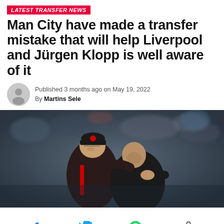LATEST TRANSFER NEWS
Man City have made a transfer mistake that will help Liverpool and Jürgen Klopp is well aware of it
Published 3 months ago on May 19, 2022
By Martins Sele
[Figure (photo): Two football managers embracing on the sideline, one wearing a Liverpool cap and jacket, the other in a dark jacket, with a crowd visible in the blurred background.]
Social share icons: Facebook, Twitter, WhatsApp, Share